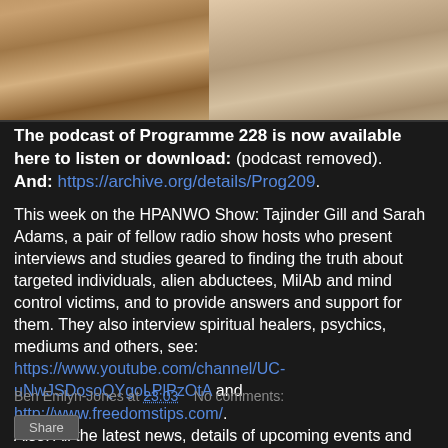[Figure (photo): Two people photographed from chest up, side by side. Left person appears to be a man in a white shirt, right person appears to be a woman.]
The podcast of Programme 228 is now available here to listen or download: (podcast removed).
And: https://archive.org/details/Prog209.
This week on the HPANWO Show: Tajinder Gill and Sarah Adams, a pair of fellow radio show hosts who present interviews and studies geared to finding the truth about targeted individuals, alien abductees, MilAb and mind control victims, and to provide answers and support for them. They also interview spiritual healers, psychics, mediums and others, see: https://www.youtube.com/channel/UC-uNwJSDosoQYgoLPlPzOtA and http://www.freedomstips.com/.
Also: All the latest news, details of upcoming events and space weather.
Ben Emlyn-Jones at 23:03   No comments:
Share